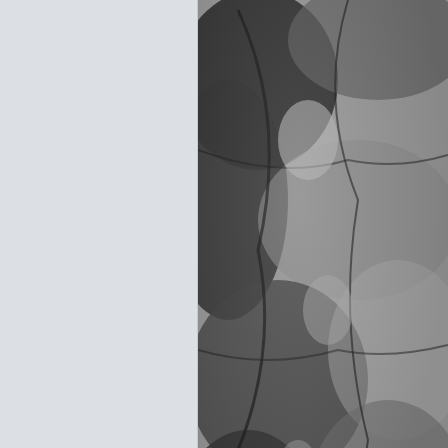[Figure (photo): Black and white close-up photograph of rocks with cracks and crevices showing textured surfaces]
Last edited by hughjones on Wed Jul 07, 2021 12:23 pm
gillk
Posts: 883
Re: 597th Show & Tell Competition
Tue Jul 06, 2021 4:53 am
[Figure (photo): Color photograph of bare tree branches against a blurred background]